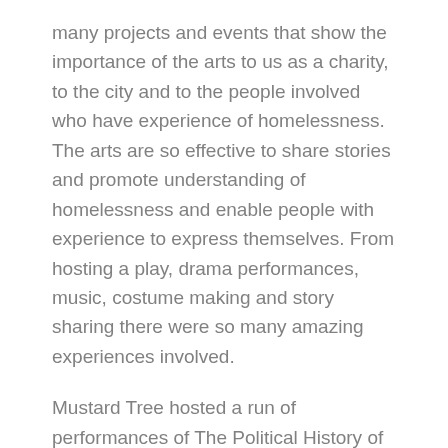many projects and events that show the importance of the arts to us as a charity, to the city and to the people involved who have experience of homelessness. The arts are so effective to share stories and promote understanding of homelessness and enable people with experience to express themselves. From hosting a play, drama performances, music, costume making and story sharing there were so many amazing experiences involved.
Mustard Tree hosted a run of performances of The Political History of Smack and Crack throughout this month. Our drama group, Tandem Theatre also created and performed a curtain raiser to a closed performance on Saturday 17th to 45 international delegates in the audience.
We also hosted the closing party on the Saturday evening, with music and spoken word performances, to also celebrate the launch of a new cultural partnership for the city – Manc Spirit. An exhibition of new abstract work called Unseen by